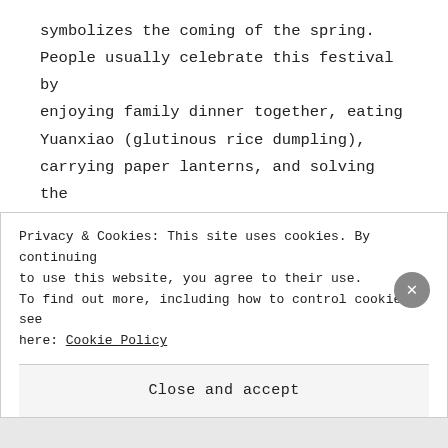symbolizes the coming of the spring. People usually celebrate this festival by enjoying family dinner together, eating Yuanxiao (glutinous rice dumpling), carrying paper lanterns, and solving the riddles on the lanterns.

At the Taiwan Lantern Festival in Chiayi, I found the grand celebration with music, dance, light shows, 4D visual effects and the grand lanterns all around me magical.
Privacy & Cookies: This site uses cookies. By continuing to use this website, you agree to their use. To find out more, including how to control cookies, see here: Cookie Policy
Close and accept